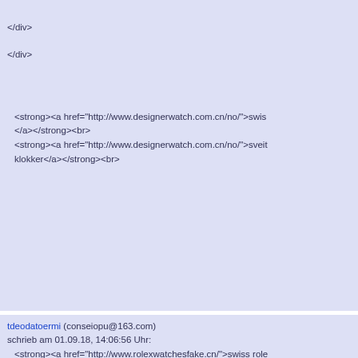</div>
</div>
<strong><a href="http://www.designerwatch.com.cn/no/">swis</a></strong><br>
<strong><a href="http://www.designerwatch.com.cn/no/">sveit klokker</a></strong><br>
tdeodatoermi (conseiopu@163.com) schrieb am 01.09.18, 14:06:56 Uhr:
<strong><a href="http://www.rolexwatchesfake.cn/">swiss role sale</a></strong>
<br>
<strong><a href="http://www.rolexwatchesfake.cn/">swiss rep